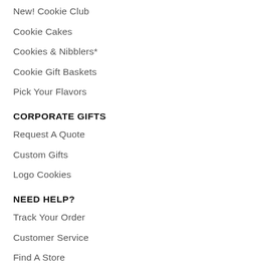New! Cookie Club
Cookie Cakes
Cookies & Nibblers*
Cookie Gift Baskets
Pick Your Flavors
CORPORATE GIFTS
Request A Quote
Custom Gifts
Logo Cookies
NEED HELP?
Track Your Order
Customer Service
Find A Store
LEARN MORE
About Us
Own A Franchise
Nutritional Info